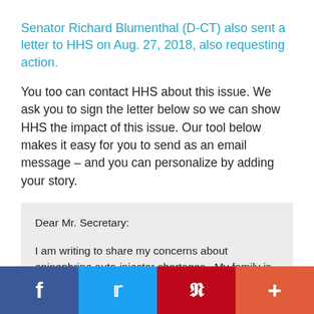Senator Richard Blumenthal (D-CT) also sent a letter to HHS on Aug. 27, 2018, also requesting action.
You too can contact HHS about this issue. We ask you to sign the letter below so we can show HHS the impact of this issue. Our tool below makes it easy for you to send as an email message – and you can personalize by adding your story.
Dear Mr. Secretary:
I am writing to share my concerns about epinephrine auto-injector shortages.  My family is impacted by food allergies, which can lead to a life-threatening allergic reaction that requires immediate treatment with epinephrine. I am one of the many who have experienced potentially life-threatening fallout from the auto-
f  t  P  +